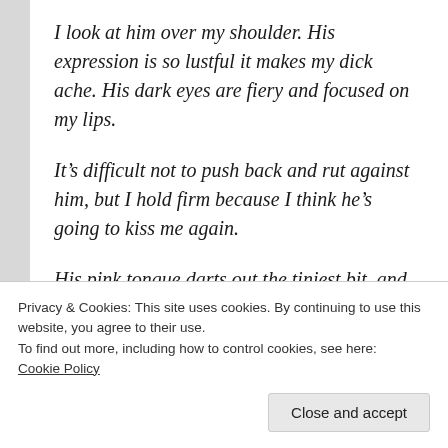I look at him over my shoulder. His expression is so lustful it makes my dick ache. His dark eyes are fiery and focused on my lips.
It’s difficult not to push back and rut against him, but I hold firm because I think he’s going to kiss me again.
His pink tongue darts out the tiniest bit, and then—
He steps back and turns toward the
Privacy & Cookies: This site uses cookies. By continuing to use this website, you agree to their use.
To find out more, including how to control cookies, see here:
Cookie Policy
Close and accept